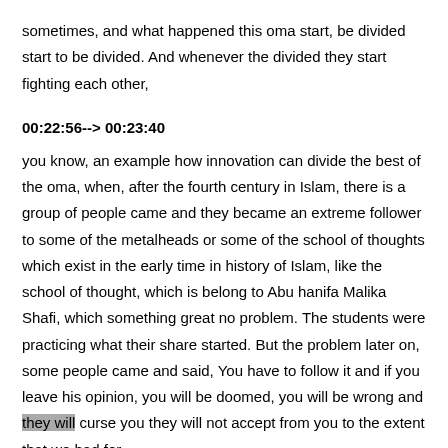sometimes, and what happened this oma start, be divided start to be divided. And whenever the divided they start fighting each other,
00:22:56--> 00:23:40
you know, an example how innovation can divide the best of the oma, when, after the fourth century in Islam, there is a group of people came and they became an extreme follower to some of the metalheads or some of the school of thoughts which exist in the early time in history of Islam, like the school of thought, which is belong to Abu hanifa Malika Shafi, which something great no problem. The students were practicing what their share started. But the problem later on, some people came and said, You have to follow it and if you leave his opinion, you will be doomed, you will be wrong and they will curse you they will not accept from you to the extent that we had for